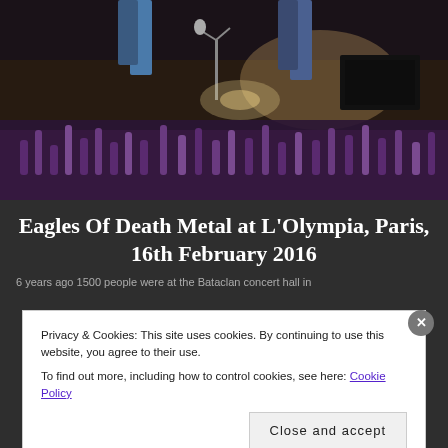[Figure (photo): Concert photo showing a stage with performers' legs visible at top, microphone stand on stage, crowd with raised hands visible in foreground, dim lighting with purple/warm hues, dark background]
Eagles Of Death Metal at L'Olympia, Paris, 16th February 2016
6 years ago 1500 people were at the Bataclan concert hall in
Privacy & Cookies: This site uses cookies. By continuing to use this website, you agree to their use.
To find out more, including how to control cookies, see here: Cookie Policy
Close and accept
DuckDuckGo.